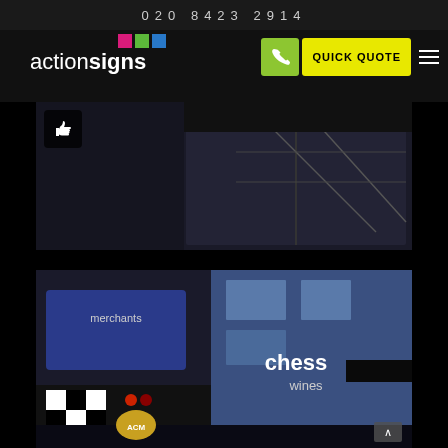020 8423 2914
[Figure (logo): Action Signs logo with coloured squares (pink, green, blue) above the text 'actionsigns']
[Figure (screenshot): QUICK QUOTE button with phone icon button and hamburger menu in navigation bar]
[Figure (photo): Dark storefront interior photo with thumbs up like button overlay]
[Figure (photo): Nighttime photo of Chess Wines shop front with illuminated signs including a merchants sign on the left and Chess Wines signage on the blue building facade]